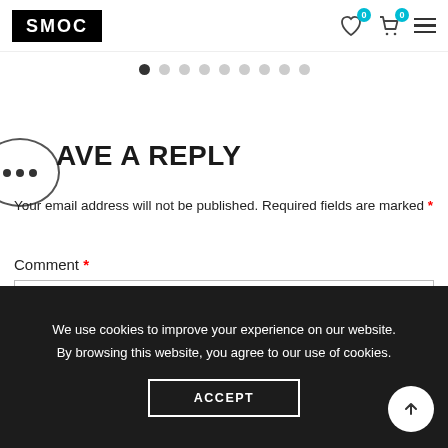SMOC — navigation header with logo, wishlist, cart, and menu icons
[Figure (infographic): Carousel pagination dots row, first dot filled/active, 8 others grey]
[Figure (illustration): Speech bubble / comment icon with three dots]
AVE A REPLY
Your email address will not be published. Required fields are marked *
Comment *
[Figure (screenshot): Comment text input box (empty)]
We use cookies to improve your experience on our website. By browsing this website, you agree to our use of cookies.
ACCEPT